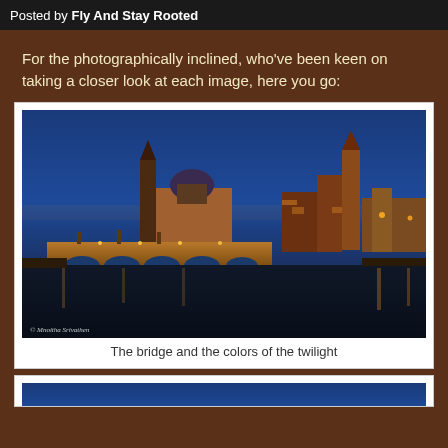Posted by Fly And Stay Rooted
For the photographically inclined, who've been keen on taking a closer look at each image, here you go:
[Figure (photo): Night photograph of Charles Bridge in Prague with illuminated bridge arches, historic towers and buildings reflected in the Vltava river at twilight with deep blue sky. Watermark: © Mnoitha Srivathen]
The bridge and the colors of the twilight
[Figure (photo): Second night photograph partially visible at bottom of page, showing blue sky and water]